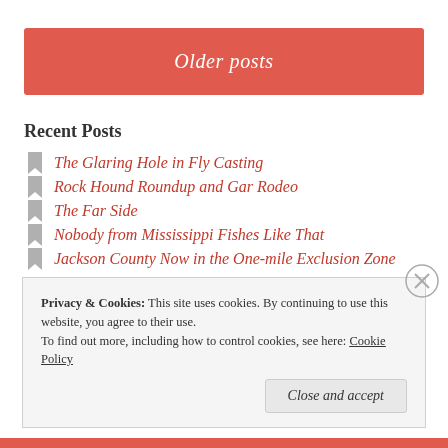Older posts
Recent Posts
The Glaring Hole in Fly Casting
Rock Hound Roundup and Gar Rodeo
The Far Side
Nobody from Mississippi Fishes Like That
Jackson County Now in the One-mile Exclusion Zone
Privacy & Cookies:  This site uses cookies. By continuing to use this website, you agree to their use. To find out more, including how to control cookies, see here: Cookie Policy
Close and accept